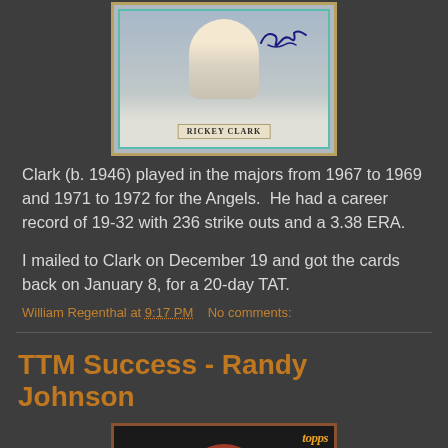[Figure (photo): Signed Rickey Clark baseball card showing player portrait with signature and name bar reading RICKEY CLARK]
Clark (b. 1946) played in the majors from 1967 to 1969 and 1971 to 1972 for the Angels. He had a career record of 19-32 with 236 strike outs and a 3.38 ERA.
I mailed to Clark on December 19 and got the cards back on January 8, for a 20-day TAT.
William Regenthal at 9:17 PM   No comments:
TTM Success - Randy Johnson
[Figure (photo): Randy Johnson Topps baseball card showing player at bat with red helmet, partial view]